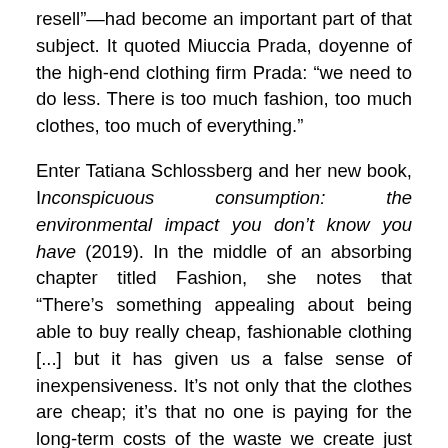resell”—had become an important part of that subject.  It quoted Miuccia Prada, doyenne of the high-end clothing firm Prada:  “we need to do less.  There is too much fashion, too much clothes, too much of everything.”
Enter Tatiana Schlossberg and her new book, Inconspicuous consumption:  the environmental impact you don’t know you have (2019).  In the middle of an absorbing chapter titled Fashion, she notes that “There’s something appealing about being able to buy really cheap, fashionable clothing [...] but it has given us a false sense of inexpensiveness.  It’s not only that the clothes are cheap; it’s that no one is paying for the long-term costs of the waste we create just from buying as much as we can afford….”
Some scholars have specifically focused on this issue, the